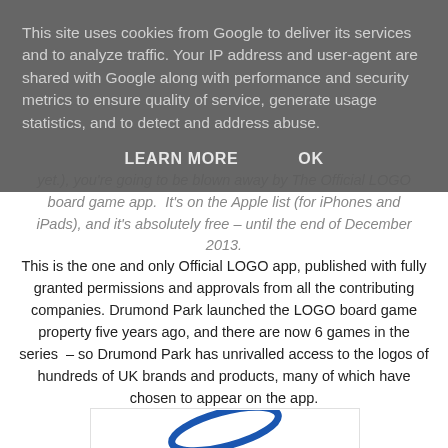This site uses cookies from Google to deliver its services and to analyze traffic. Your IP address and user-agent are shared with Google along with performance and security metrics to ensure quality of service, generate usage statistics, and to detect and address abuse.
LEARN MORE   OK
yet.), you're going to be blown away by The Official LOGO board game app.  It's on the Apple list (for iPhones and iPads), and it's absolutely free – until the end of December 2013.
This is the one and only Official LOGO app, published with fully granted permissions and approvals from all the contributing companies. Drumond Park launched the LOGO board game property five years ago, and there are now 6 games in the series  – so Drumond Park has unrivalled access to the logos of hundreds of UK brands and products, many of which have chosen to appear on the app.
[Figure (logo): Partial blue elliptical logo shape visible at bottom of page]